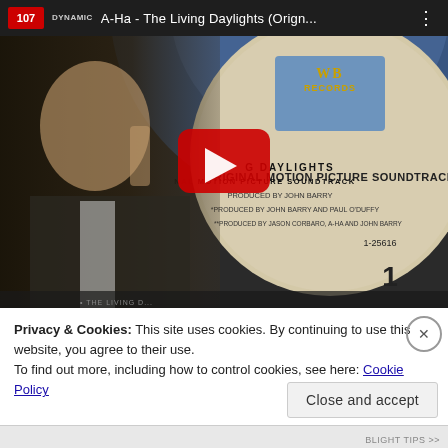[Figure (screenshot): YouTube video thumbnail showing A-Ha - The Living Daylights (Original Motion Picture Soundtrack) vinyl record with Warner Bros Records label. A man in a suit is visible on the left side of the image. A red YouTube play button is overlaid in the center. The record label text reads: ORIGINAL MOTION PICTURE SOUNDTRACK, PRODUCED BY JOHN BARRY, *PRODUCED BY JOHN BARRY AND PAUL O'DUFFY, **PRODUCED BY JASON CORBARO, A-HA AND JOHN BARRY, 1-25616, 1. The video bar at top shows channel logo '107 DYNAMIC', title 'A-Ha - The Living Daylights (Orign...' and a three-dot menu icon.]
Privacy & Cookies: This site uses cookies. By continuing to use this website, you agree to their use.
To find out more, including how to control cookies, see here: Cookie Policy
Close and accept